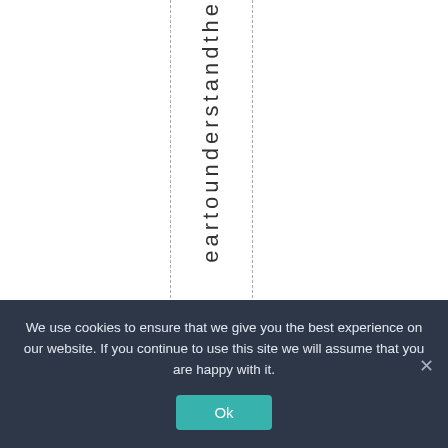eartounderstandthe
We use cookies to ensure that we give you the best experience on our website. If you continue to use this site we will assume that you are happy with it.